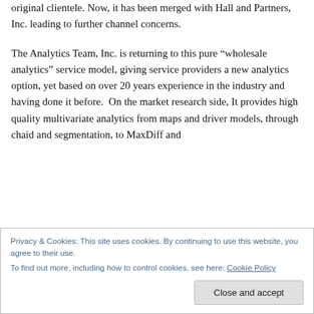original clientele. Now, it has been merged with Hall and Partners, Inc. leading to further channel concerns.
The Analytics Team, Inc. is returning to this pure “wholesale analytics” service model, giving service providers a new analytics option, yet based on over 20 years experience in the industry and having done it before.  On the market research side, It provides high quality multivariate analytics from maps and driver models, through chaid and segmentation, to MaxDiff and
Privacy & Cookies: This site uses cookies. By continuing to use this website, you agree to their use.
To find out more, including how to control cookies, see here: Cookie Policy